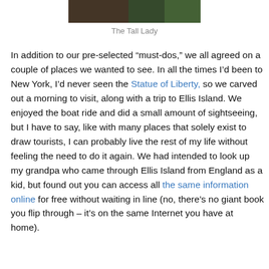[Figure (photo): Partial photo strip at top of page showing people, cropped]
The Tall Lady
In addition to our pre-selected “must-dos,” we all agreed on a couple of places we wanted to see. In all the times I’d been to New York, I’d never seen the Statue of Liberty, so we carved out a morning to visit, along with a trip to Ellis Island. We enjoyed the boat ride and did a small amount of sightseeing, but I have to say, like with many places that solely exist to draw tourists, I can probably live the rest of my life without feeling the need to do it again. We had intended to look up my grandpa who came through Ellis Island from England as a kid, but found out you can access all the same information online for free without waiting in line (no, there’s no giant book you flip through – it’s on the same Internet you have at home).